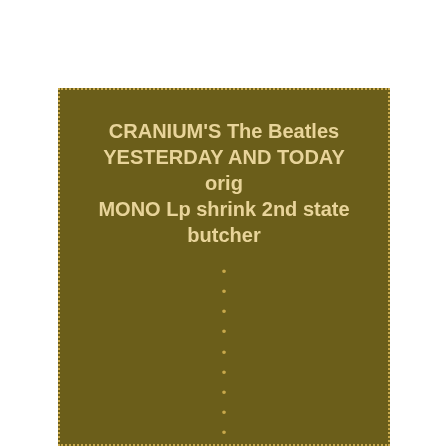CRANIUM'S The Beatles YESTERDAY AND TODAY orig MONO Lp shrink 2nd state butcher
Other than the light yellowing/aging at the opening and the corner dings you aren't going to find a much better second state than this.